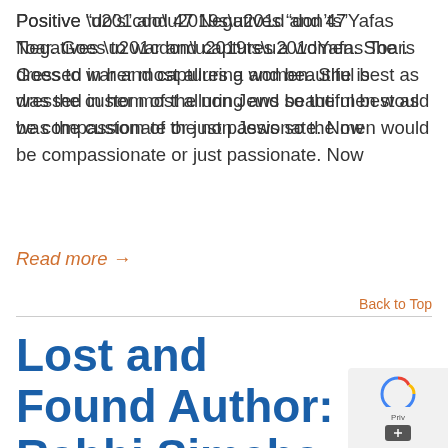Positive “do’s” and 47 Negatives “don’ts”Yafas Toar. Goes to war and captures a women. She is dressed in her most alluring and beautiful best as was the custom of the non Jews so the men would be compassionate or just passionate. Now
Read more →
Back to Top
Lost and Found Author: Rabbi Simcha Barnett